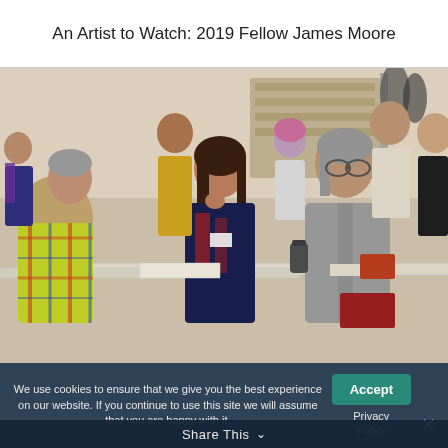An Artist to Watch: 2019 Fellow James Moore
[Figure (photo): Group of people sitting and standing around a white table in a community or classroom setting, engaged in conversation. A man in a colorful plaid shirt on the left, a young woman in the center, and an older woman in a gray jacket on the right are prominently featured.]
We use cookies to ensure that we give you the best experience on our website. If you continue to use this site we will assume that you are happy with it.
Share This